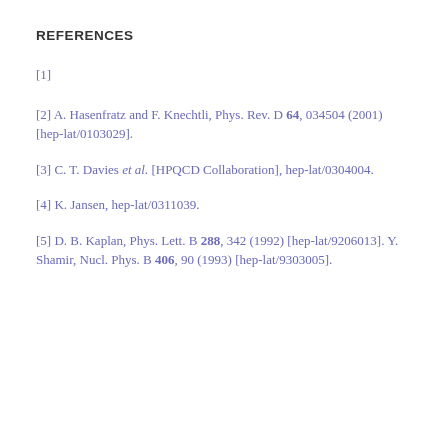REFERENCES
[1]
[2] A. Hasenfratz and F. Knechtli, Phys. Rev. D 64, 034504 (2001) [hep-lat/0103029].
[3] C. T. Davies et al. [HPQCD Collaboration], hep-lat/0304004.
[4] K. Jansen, hep-lat/0311039.
[5] D. B. Kaplan, Phys. Lett. B 288, 342 (1992) [hep-lat/9206013]. Y. Shamir, Nucl. Phys. B 406, 90 (1993) [hep-lat/9303005].